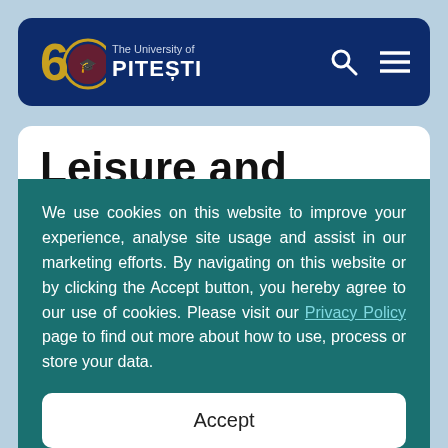The University of PITEȘTI
Leisure and Events
Taking a break from time to time is very much encouraged, so why not use the time to treat yourself a little ? From Spa Centres to our
We use cookies on this website to improve your experience, analyse site usage and assist in our marketing efforts. By navigating on this website or by clicking the Accept button, you hereby agree to our use of cookies. Please visit our Privacy Policy page to find out more about how to use, process or store your data.
Accept